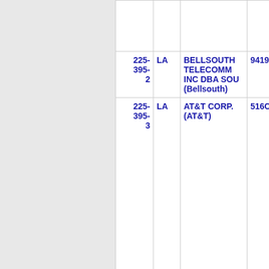| Number | State | Name | Code |
| --- | --- | --- | --- |
| 225-395-2 | LA | BELLSOUTH TELECOMM INC DBA SOU (Bellsouth) | 9419 |
| 225-395-3 | LA | AT&T CORP. (AT&T) | 516C |